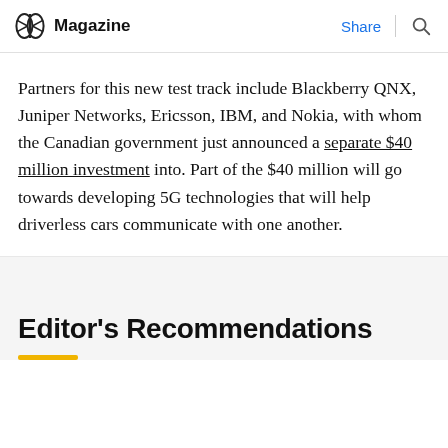Magazine | Share
Partners for this new test track include Blackberry QNX, Juniper Networks, Ericsson, IBM, and Nokia, with whom the Canadian government just announced a separate $40 million investment into. Part of the $40 million will go towards developing 5G technologies that will help driverless cars communicate with one another.
Editor's Recommendations